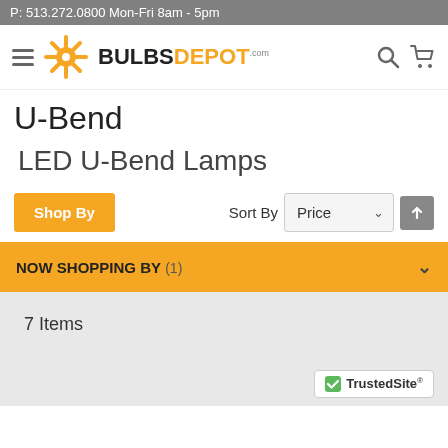P: 513.272.0800 Mon-Fri 8am - 5pm
[Figure (logo): BulbsDepot.com logo with orange sunburst icon and bold text]
U-Bend
LED U-Bend Lamps
Shop By | Sort By Price ∨ ↑
NOW SHOPPING BY (1)
7 Items
[Figure (logo): TrustedSite badge with green checkmark]